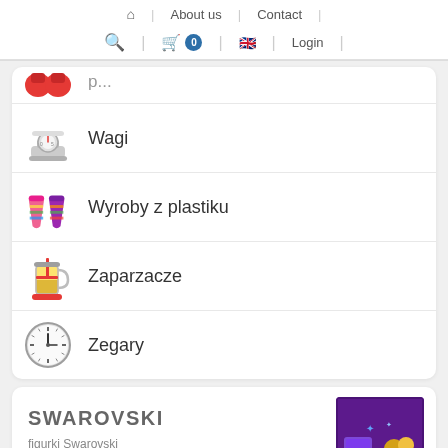Home | About us | Contact | Search | Cart 0 | Login
Wagi
Wyroby z plastiku
Zaparzacze
Zegary
SWAROVSKI
figurki Swarovski